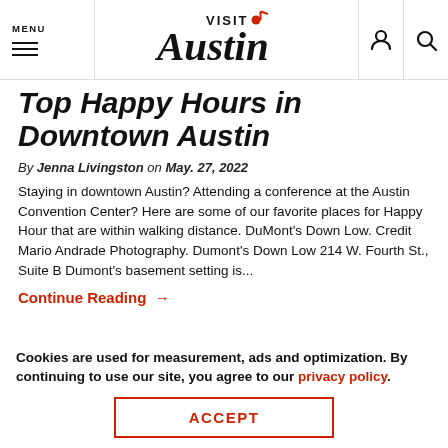MENU | Visit Austin logo | icons
Top Happy Hours in Downtown Austin
By Jenna Livingston on May. 27, 2022
Staying in downtown Austin? Attending a conference at the Austin Convention Center? Here are some of our favorite places for Happy Hour that are within walking distance. DuMont's Down Low. Credit Mario Andrade Photography. Dumont's Down Low 214 W. Fourth St., Suite B Dumont's basement setting is...
Continue Reading →
Cookies are used for measurement, ads and optimization. By continuing to use our site, you agree to our privacy policy.
ACCEPT